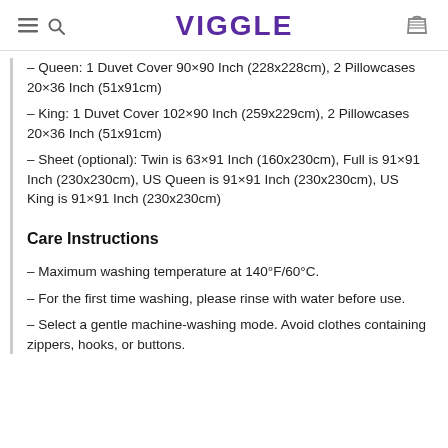VIGGLE
– Queen: 1 Duvet Cover 90×90 Inch (228x228cm), 2 Pillowcases 20×36 Inch (51x91cm)
– King: 1 Duvet Cover 102×90 Inch (259x229cm), 2 Pillowcases 20×36 Inch (51x91cm)
– Sheet (optional): Twin is 63×91 Inch (160x230cm), Full is 91×91 Inch (230x230cm), US Queen is 91×91 Inch (230x230cm), US King is 91×91 Inch (230x230cm)
Care Instructions
– Maximum washing temperature at 140°F/60°C.
– For the first time washing, please rinse with water before use.
– Select a gentle machine-washing mode. Avoid clothes containing zippers, hooks, or buttons.